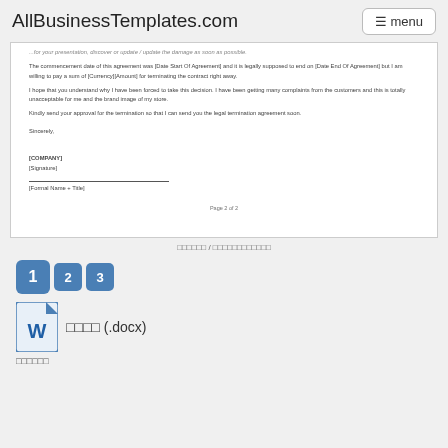AllBusinessTemplates.com   menu
...for your presentation, discover or update/update the damage as soon as possible.

The commencement date of this agreement was [Date Start Of Agreement] and it is legally supposed to end on [Date End Of Agreement] but I am willing to pay a sum of [Currency][Amount] for terminating the contract right away.

I hope that you understand why I have been forced to take this decision. I have been getting many complaints from the customers and this is totally unacceptable for me and the brand image of my store.

Kindly send your approval for the termination so that I can send you the legal termination agreement soon.

Sincerely,


[COMPANY]
[Signature]
___________________________
[Formal Name + Title]
Page 2 of 2
□□□□□□ / □□□□□□□□□□□□
1  2  3
□□□□ (.docx)
□□□□□□